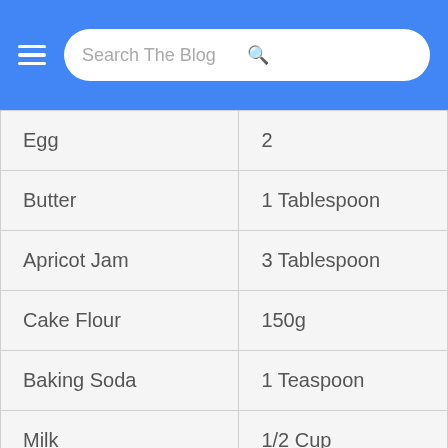Search The Blog
| Egg | 2 |
| Butter | 1 Tablespoon |
| Apricot Jam | 3 Tablespoon |
| Cake Flour | 150g |
| Baking Soda | 1 Teaspoon |
| Milk | 1/2 Cup |
| White Vinegar | 2 Teaspoon |
| Vanilla Essence | 2 Tablespoon |